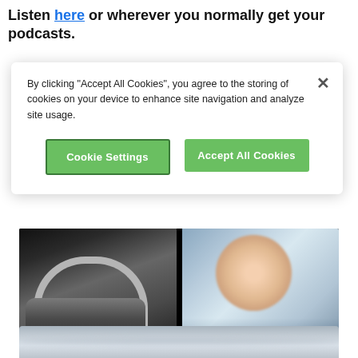Listen here or wherever you normally get your podcasts.
By clicking "Accept All Cookies", you agree to the storing of cookies on your device to enhance site navigation and analyze site usage.
Cookie Settings
Accept All Cookies
[Figure (photo): Two side-by-side photos: left shows a person wearing headphones around their neck in a dark shirt; right shows a smiling woman in a bright office setting]
Podcast selfie lockdown style! L-R Noel Fitzpatrick, John Law, Liz Walsh
[Figure (photo): Partial view of a grey/silver image, possibly sky or abstract background, cropped at bottom of page]